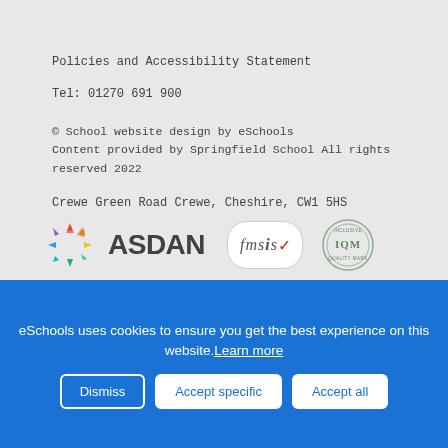Policies and Accessibility Statement
Tel: 01270 691 900
© School website design by eSchools
Content provided by Springfield School All rights reserved 2022
Crewe Green Road Crewe, Cheshire, CW1 5HS
[Figure (logo): ASDAN logo with colorful wheel icon and bold ASDAN text, fmsis logo with oval border and checkmark, IQM Inclusive Quality Mark circular badge]
[Figure (logo): Row of school award badges: laurel wreath, two school games badges (gold, bronze), quality mark badges]
eSchools uses cookies to ensure you get the best experience on this website. Learn more
Dismiss
Accept specific
Accept all